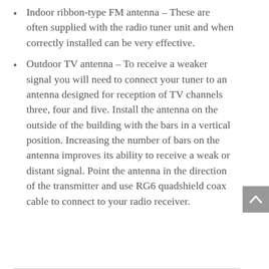Indoor ribbon-type FM antenna – These are often supplied with the radio tuner unit and when correctly installed can be very effective.
Outdoor TV antenna – To receive a weaker signal you will need to connect your tuner to an antenna designed for reception of TV channels three, four and five. Install the antenna on the outside of the building with the bars in a vertical position. Increasing the number of bars on the antenna improves its ability to receive a weak or distant signal. Point the antenna in the direction of the transmitter and use RG6 quadshield coax cable to connect to your radio receiver.